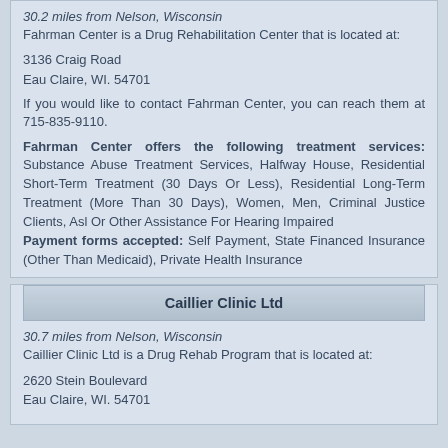30.2 miles from Nelson, Wisconsin
Fahrman Center is a Drug Rehabilitation Center that is located at:
3136 Craig Road
Eau Claire, WI. 54701
If you would like to contact Fahrman Center, you can reach them at 715-835-9110.
Fahrman Center offers the following treatment services: Substance Abuse Treatment Services, Halfway House, Residential Short-Term Treatment (30 Days Or Less), Residential Long-Term Treatment (More Than 30 Days), Women, Men, Criminal Justice Clients, Asl Or Other Assistance For Hearing Impaired
Payment forms accepted: Self Payment, State Financed Insurance (Other Than Medicaid), Private Health Insurance
Caillier Clinic Ltd
30.7 miles from Nelson, Wisconsin
Caillier Clinic Ltd is a Drug Rehab Program that is located at:
2620 Stein Boulevard
Eau Claire, WI. 54701